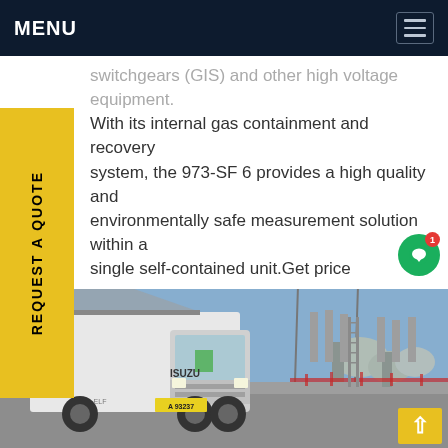MENU
switchgears (GIS) and other high voltage equipment. With its internal gas containment and recovery system, the 973-SF 6 provides a high quality and environmentally safe measurement solution within a single self-contained unit.Get price
REQUEST A QUOTE
[Figure (photo): A white Isuzu truck parked in front of a high-voltage electrical substation with large transformers, metal pylons, and overhead power lines under a blue sky.]
Chat icon with notification badge showing 1